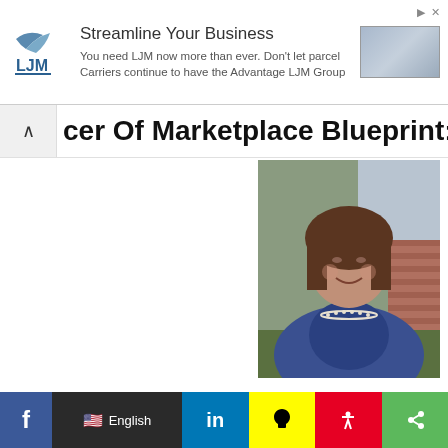[Figure (infographic): LJM Group advertisement banner with logo, headline 'Streamline Your Business', body text, and placeholder image]
cer Of Marketplace Blueprint:
[Figure (photo): Portrait photo of a woman with brown hair wearing a blue top and pearl necklace, seated outdoors with flowers and brick wall in background]
“If I know that I am good at what I do, and believe that I provide a product that will make a difference to a client, I am doing them a disservice if I don’t assertively make
[Figure (infographic): Social media sharing bar with Facebook, language selector showing English with US flag, LinkedIn, Snapchat, Pinterest, and share icons]